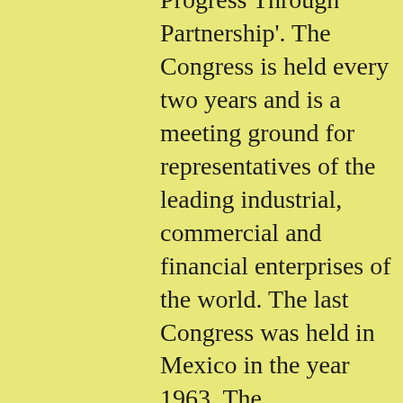Progress Through Partnership'. The Congress is held every two years and is a meeting ground for representatives of the leading industrial, commercial and financial enterprises of the world. The last Congress was held in Mexico in the year 1963. The International Chamber of Commerce (ICC) was established in 1919 with the task of representing and promoting private enterprise throughout the world with the basic aim of increasing world trade. The ICC has long established working relationships with the United